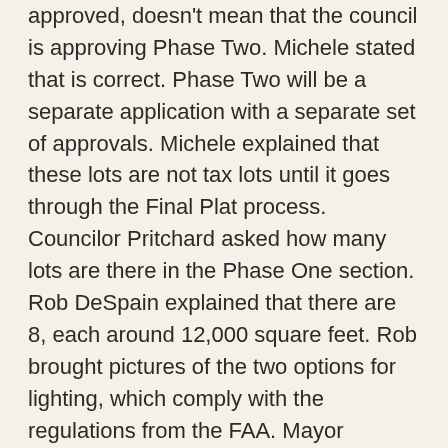approved, doesn't mean that the council is approving Phase Two. Michele stated that is correct. Phase Two will be a separate application with a separate set of approvals. Michele explained that these lots are not tax lots until it goes through the Final Plat process. Councilor Pritchard asked how many lots are there in the Phase One section. Rob DeSpain explained that there are 8, each around 12,000 square feet. Rob brought pictures of the two options for lighting, which comply with the regulations from the FAA. Mayor Karvoski asked for any further questions.
Councilor Pritchard made a motion to approve the recommendation of the Planning Commission, approving the Tentative Plan for the Sagewood Heights Subdivision. Councilor Christman seconded the motion. Motion was unanimous.